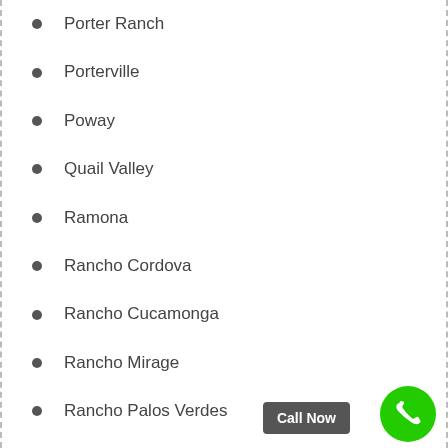Porter Ranch
Porterville
Poway
Quail Valley
Ramona
Rancho Cordova
Rancho Cucamonga
Rancho Mirage
Rancho Palos Verdes
Rancho Santa Margarita